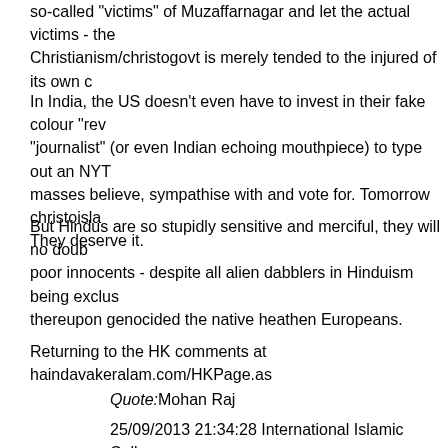so-called "victims" of Muzaffarnagar and let the actual victims - the Christianism/christogovt is merely tended to the injured of its own c
In India, the US doesn't even have to invest in their fake colour "rev "journalist" (or even Indian echoing mouthpiece) to type out an NYT masses believe, sympathise with and vote for. Tomorrow christoisla They deserve it.
But Hindus are so stupidly sensitive and merciful, they will no doub poor innocents - despite all alien dabblers in Hinduism being exclus thereupon genocided the native heathen Europeans.
Returning to the HK comments at haindavakeralam.com/HKPage.as
Quote:Mohan Raj
25/09/2013 21:34:28 International Islamic College
[color="#0000FF"]The face of Tirupati town will be changed, shawarma shops,separate Haj terminal at Tirupati airport,all sh